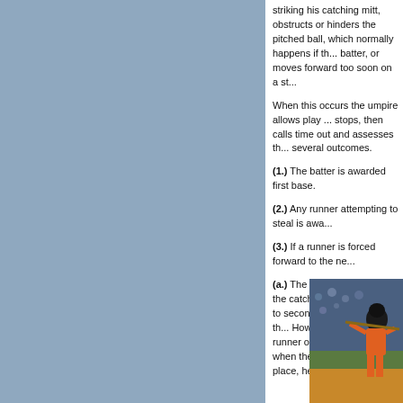striking his catching mitt, obstructs or hinders the pitched ball, which normally happens if the catcher, batter, or moves forward too soon on a st...
When this occurs the umpire allows play to continue, stops, then calls time out and assesses the situation. several outcomes.
(1.) The batter is awarded first base.
(2.) Any runner attempting to steal is awa...
(3.) If a runner is forced forward to the ne...
(a.) The runner on first when the catcher's... being forced to second base, because th... However, if there is a runner on second, ... third when the interference took place, he...
[Figure (photo): Baseball player in orange uniform batting, catcher and crowd visible in background]